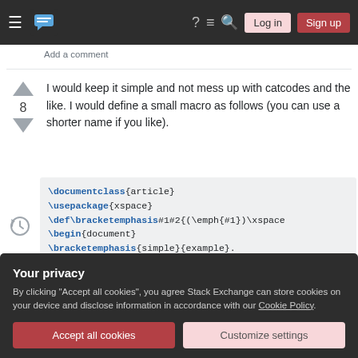Stack Exchange navigation bar with hamburger menu, logo, help, chat, search icons, Log in and Sign up buttons
Add a comment
I would keep it simple and not mess up with catcodes and the like. I would define a small macro as follows (you can use a shorter name if you like).
\documentclass{article}
\usepackage{xspace}
\def\bracketemphasis#1#2{(\emph{#1})\xspace
\begin{document}
\bracketemphasis{simple}{example}.
\end{document}
Your privacy
By clicking "Accept all cookies", you agree Stack Exchange can store cookies on your device and disclose information in accordance with our Cookie Policy.
Accept all cookies
Customize settings
macro is followed by punctuation characters.